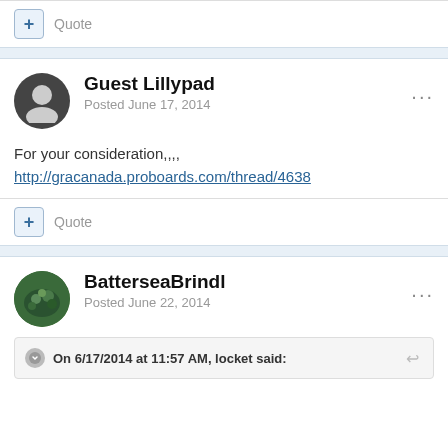+ Quote
Guest Lillypad
Posted June 17, 2014
For your consideration,,,,http://gracanada.proboards.com/thread/4638
+ Quote
BatterseaBrindl
Posted June 22, 2014
On 6/17/2014 at 11:57 AM, locket said: